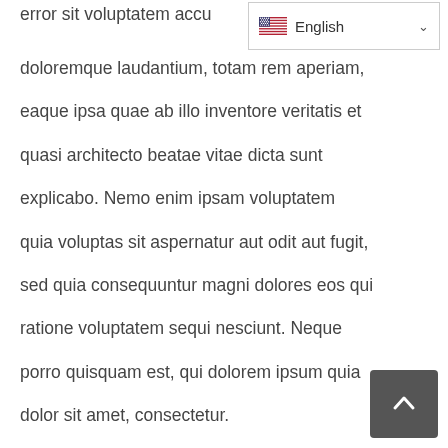[Figure (screenshot): Language selector dropdown showing English with US flag and chevron]
error sit voluptatem accu doloremque laudantium, totam rem aperiam, eaque ipsa quae ab illo inventore veritatis et quasi architecto beatae vitae dicta sunt explicabo. Nemo enim ipsam voluptatem quia voluptas sit aspernatur aut odit aut fugit, sed quia consequuntur magni dolores eos qui ratione voluptatem sequi nesciunt. Neque porro quisquam est, qui dolorem ipsum quia dolor sit amet, consectetur.
Studies show that consistency is all important.